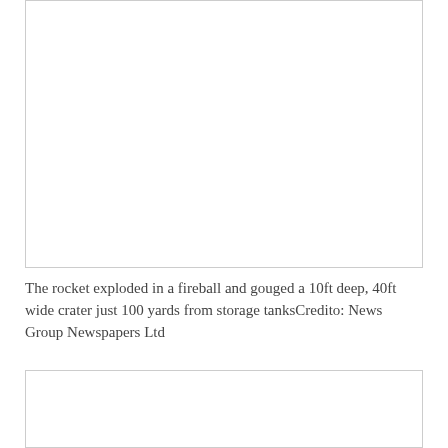[Figure (photo): Photo placeholder box (top) — image area for rocket explosion fireball photograph]
The rocket exploded in a fireball and gouged a 10ft deep, 40ft wide crater just 100 yards from storage tanksCredito: News Group Newspapers Ltd
[Figure (photo): Photo placeholder box (bottom) — partial image area for a second photograph]